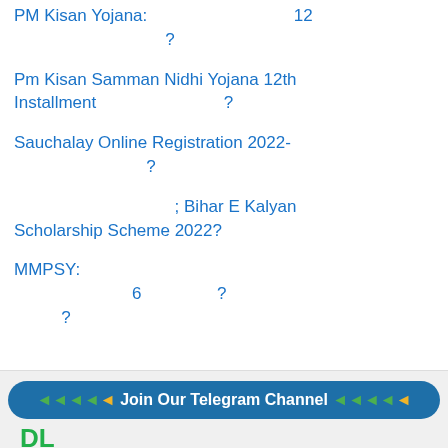PM Kisan Yojana: 12 ?
Pm Kisan Samman Nidhi Yojana 12th Installment ?
Sauchalay Online Registration 2022- ?
; Bihar E Kalyan Scholarship Scheme 2022?
MMPSY: 6 ? ?
Join Our Telegram Channel
DL